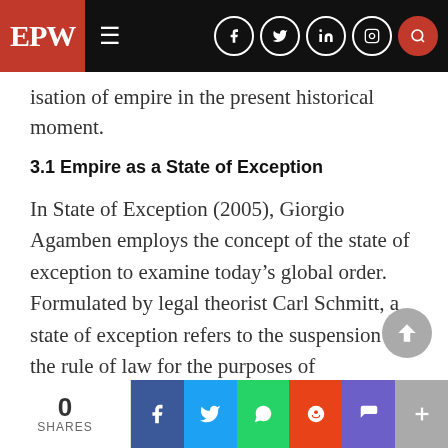EPW
...isation of empire in the present historical moment.
3.1 Empire as a State of Exception
In State of Exception (2005), Giorgio Agamben employs the concept of the state of exception to examine today’s global order. Formulated by legal theorist Carl Schmitt, a state of exception refers to the suspension of the rule of law for the purposes of maintaining order. In a world shaped by the war on terror, Agamben argues that “faced with the unstoppable progression of what has been called ‘global civil war’, the state of exception
0 SHARES | Share on Facebook | Share on Twitter | Share on WhatsApp | Share on Reddit | Share on Pocket | More